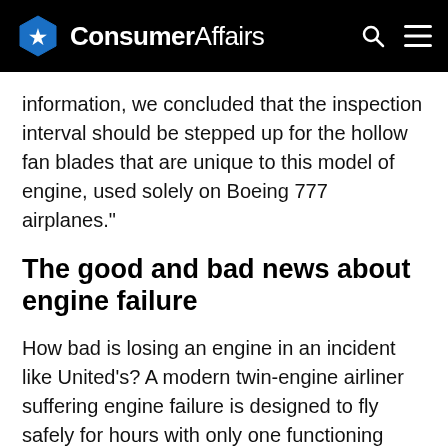ConsumerAffairs
information, we concluded that the inspection interval should be stepped up for the hollow fan blades that are unique to this model of engine, used solely on Boeing 777 airplanes."
The good and bad news about engine failure
How bad is losing an engine in an incident like United's? A modern twin-engine airliner suffering engine failure is designed to fly safely for hours with only one functioning engine. An example is a 2017 Paris to L.A. incident in which the crew took the aircraft to a lower altitude and diverted to Goose Bay, Canada, where it landed safely two hours later. Nonetheless, there are potential problems involved